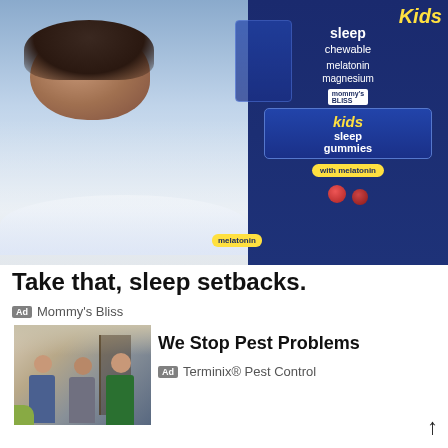[Figure (photo): Top banner advertisement for Mommy's Bliss kids sleep products including gummies and chewables with melatonin and magnesium, showing a sleeping child and product packaging on dark blue background]
Take that, sleep setbacks.
Ad  Mommy's Bliss
[Figure (photo): Ad image showing pest control technician speaking with homeowners in a house entryway]
We Stop Pest Problems
Ad  Terminix® Pest Control
[Figure (photo): Ad image showing a hand in blue glove holding a blood test tube labeled Thyroid-Test over medical paperwork]
Thyroid Symptoms & Treatments
Ad  Thyroid Institute
[Figure (photo): Ad image showing anatomical illustration of human digestive/colon system]
Natural Colon Cleanse at Home
Ad  The Perfect Health Cl...